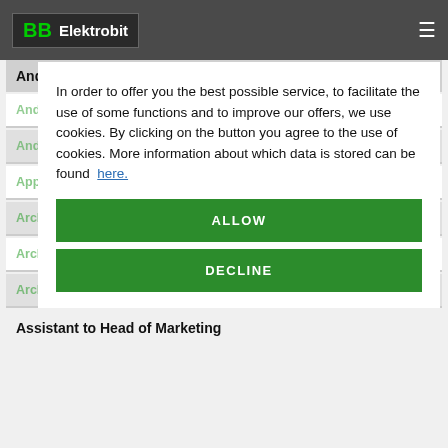Elektrobit
Android Platform (Senior) Software Engineer (m/f/d)
Android Platform (Senior) Software Engineer (m/f/d)
Android Platform (Senior) Software Engineer (m/f/d)
Application Architect (m/f/d)
Architect (m/f/d) for advanced vehicle systems
Architect (m/f/d) for EB tresos Safety
Architect (m/f/d) for Test Automation
In order to offer you the best possible service, to facilitate the use of some functions and to improve our offers, we use cookies. By clicking on the button you agree to the use of cookies. More information about which data is stored can be found here.
ALLOW
DECLINE
Assistant to Head of Marketing